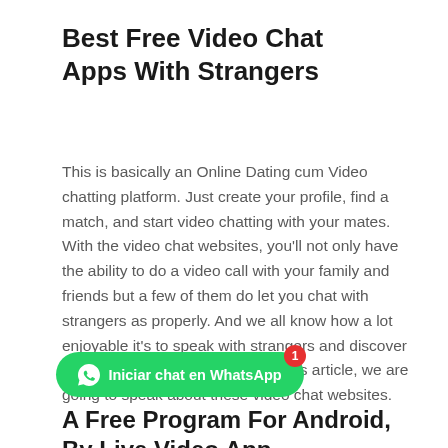Best Free Video Chat Apps With Strangers
This is basically an Online Dating cum Video chatting platform. Just create your profile, find a match, and start video chatting with your mates. With the video chat websites, you’ll not only have the ability to do a video call with your family and friends but a few of them do let you chat with strangers as properly. And we all know how a lot enjoyable it's to speak with strangers and discover new issues (or people!). And on this article, we are going to speak about these video chat websites.
[Figure (other): Green WhatsApp button with text 'Iniciar chat en WhatsApp' and a red notification badge showing 1]
A Free Program For Android, By Live Video App